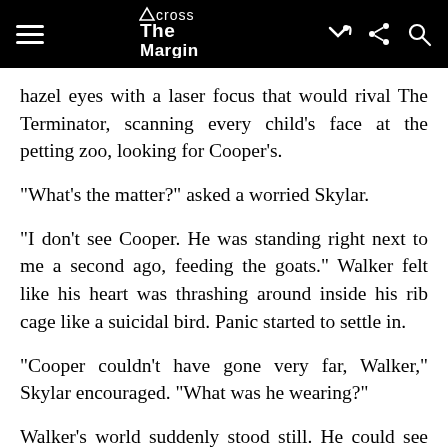Across The Margin
hazel eyes with a laser focus that would rival The Terminator, scanning every child's face at the petting zoo, looking for Cooper's.
“What’s the matter?” asked a worried Skylar.
“I don’t see Cooper. He was standing right next to me a second ago, feeding the goats.” Walker felt like his heart was thrashing around inside his rib cage like a suicidal bird. Panic started to settle in.
“Cooper couldn’t have gone very far, Walker,” Skylar encouraged. “What was he wearing?”
Walker’s world suddenly stood still. He could see Skylar’s lips moving but he couldn’t make out what